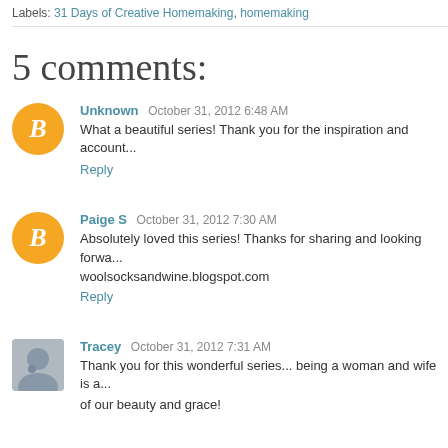Labels: 31 Days of Creative Homemaking, homemaking
5 comments:
Unknown  October 31, 2012 6:48 AM
What a beautiful series! Thank you for the inspiration and account...
Reply
Paige S  October 31, 2012 7:30 AM
Absolutely loved this series! Thanks for sharing and looking forwa...
woolsocksandwine.blogspot.com
Reply
Tracey  October 31, 2012 7:31 AM
Thank you for this wonderful series... being a woman and wife is a... of our beauty and grace!